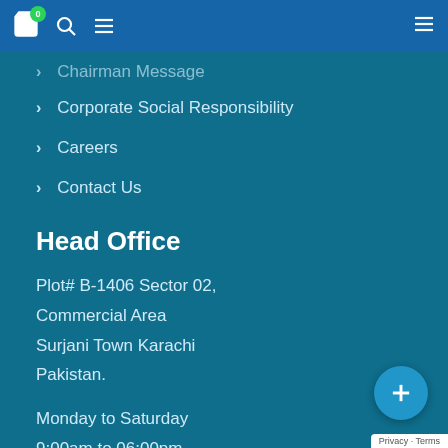Navigation bar with cart (0), search, menu icons
Chairman Message
Corporate Social Responsibility
Careers
Contact Us
Head Office
Plot# B-1406 Sector 02, Commercial Area Surjani Town Karachi Pakistan.
Monday to Saturday 9:00am to 06:00pm